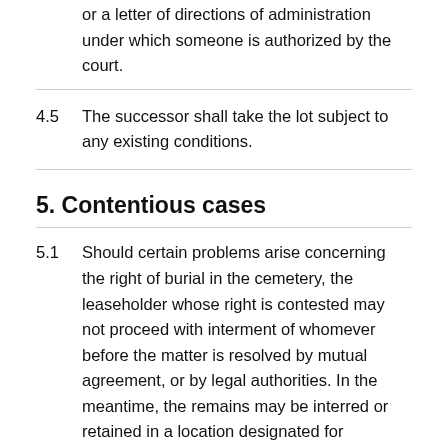or a letter of directions of administration under which someone is authorized by the court.
4.5  The successor shall take the lot subject to any existing conditions.
5. Contentious cases
5.1  Should certain problems arise concerning the right of burial in the cemetery, the leaseholder whose right is contested may not proceed with interment of whomever before the matter is resolved by mutual agreement, or by legal authorities. In the meantime, the remains may be interred or retained in a location designated for